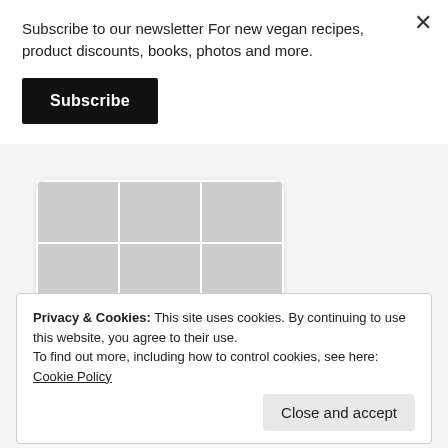Subscribe to our newsletter For new vegan recipes, product discounts, books, photos and more.
Subscribe
[Figure (screenshot): Pinterest widget showing a grid of 6 garden/food photos with a Follow On Pinterest button below]
Privacy & Cookies: This site uses cookies. By continuing to use this website, you agree to their use.
To find out more, including how to control cookies, see here: Cookie Policy
Close and accept